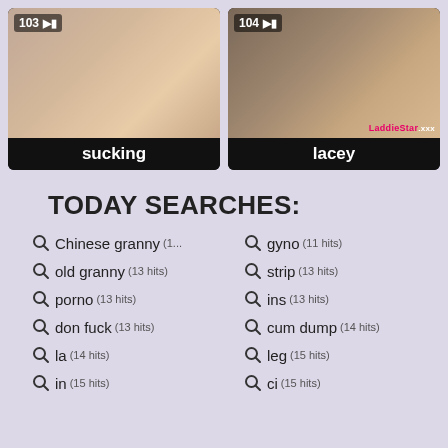[Figure (screenshot): Video thumbnail 103 labeled 'sucking']
[Figure (screenshot): Video thumbnail 104 labeled 'lacey']
TODAY SEARCHES:
Chinese granny (1... (11 hits column left)
old granny (13 hits)
porno (13 hits)
don fuck (13 hits)
la (14 hits)
in (15 hits)
gyno (11 hits)
strip (13 hits)
ins (13 hits)
cum dump (14 hits)
leg (15 hits)
ci (15 hits)